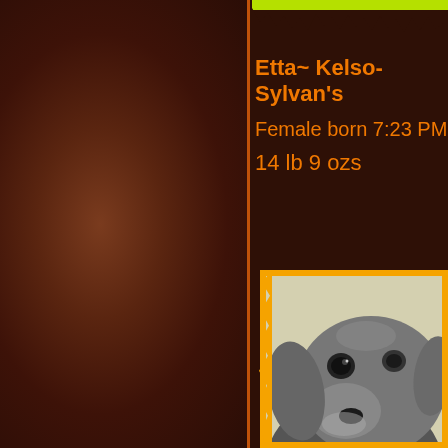Etta~ Kelso-Sylvan's
Female born 7:23 PM
14 lb 9 ozs
[Figure (photo): Black and white close-up photo of a Weimaraner puppy face, looking slightly to the side, with floppy ears and soulful eyes, set against a light cream/yellowish background, inside an orange frame.]